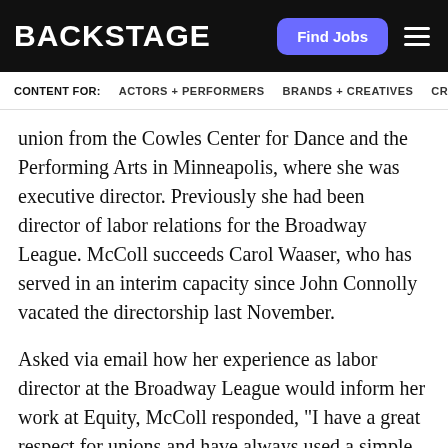BACKSTAGE | Find Jobs
CONTENT FOR: ACTORS + PERFORMERS   BRANDS + CREATIVES   CREAT…
union from the Cowles Center for Dance and the Performing Arts in Minneapolis, where she was executive director. Previously she had been director of labor relations for the Broadway League. McColl succeeds Carol Waaser, who has served in an interim capacity since John Connolly vacated the directorship last November.
Asked via email how her experience as labor director at the Broadway League would inform her work at Equity, McColl responded, "I have a great respect for unions and have always used a simple strategy in my work—I remember that